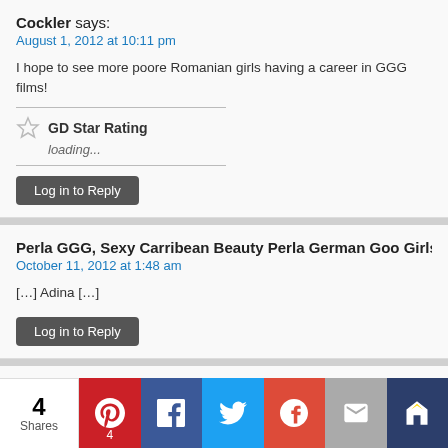Cockler says:
August 1, 2012 at 10:11 pm
I hope to see more poore Romanian girls having a career in GGG films!
GD Star Rating loading...
Log in to Reply
Perla GGG, Sexy Carribean Beauty Perla German Goo Girls | Pornsta...
October 11, 2012 at 1:48 am
[…] Adina […]
Log in to Reply
Dontrythis says:
December 31, 2012 at 2:24 pm
Adina is the best GGG girl ever. She's thin, gorgeous, young, professional and sh... what she does. I really want to meet her…maybe in one of GGG film or better, in...
GD Star Rating
4 Shares